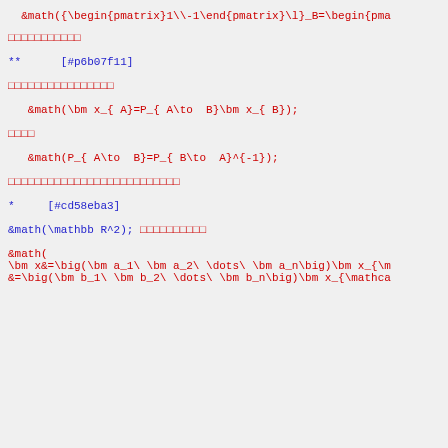&math({\begin{pmatrix}1\\-1\end{pmatrix}\l}_B=\begin{pma
□□□□□□□□□□□
**      [#p6b07f11]
□□□□□□□□□□□□□□□□
□□□□
□□□□□□□□□□□□□□□□□□□□□□□□□□
*     [#cd58eba3]
&math(\mathbb R^2); □□□□□□□□□□